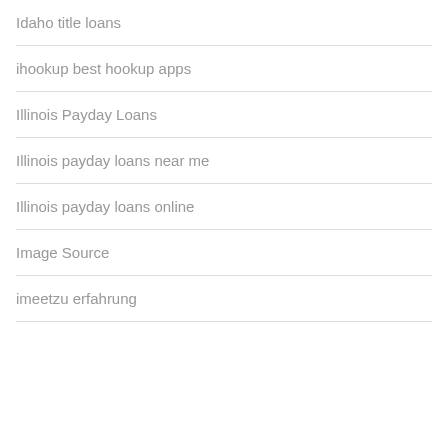Idaho title loans
ihookup best hookup apps
Illinois Payday Loans
Illinois payday loans near me
Illinois payday loans online
Image Source
imeetzu erfahrung